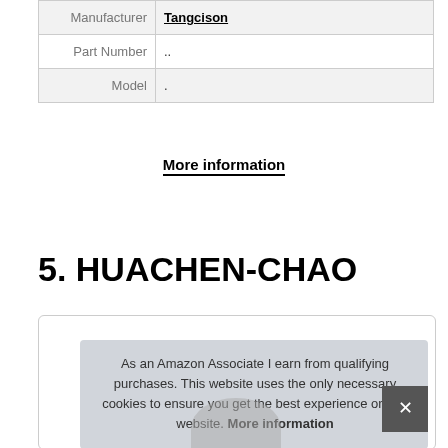| Manufacturer | Tangcison |
| Part Number | .. |
| Model | . |
More information
5. HUACHEN-CHAO
As an Amazon Associate I earn from qualifying purchases. This website uses the only necessary cookies to ensure you get the best experience on our website. More information